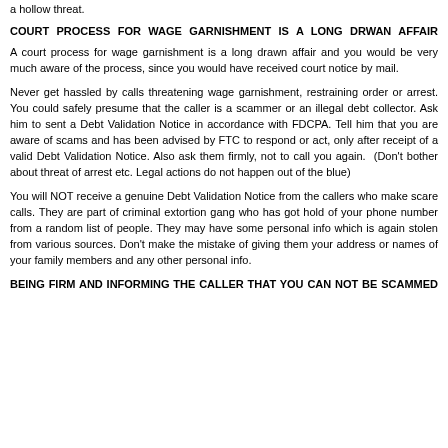a hollow threat.
COURT PROCESS FOR WAGE GARNISHMENT IS A LONG DRWAN AFFAIR
A court process for wage garnishment is a long drawn affair and you would be very much aware of the process, since you would have received court notice by mail.
Never get hassled by calls threatening wage garnishment, restraining order or arrest. You could safely presume that the caller is a scammer or an illegal debt collector. Ask him to sent a Debt Validation Notice in accordance with FDCPA. Tell him that you are aware of scams and has been advised by FTC to respond or act, only after receipt of a valid Debt Validation Notice. Also ask them firmly, not to call you again. (Don't bother about threat of arrest etc. Legal actions do not happen out of the blue)
You will NOT receive a genuine Debt Validation Notice from the callers who make scare calls. They are part of criminal extortion gang who has got hold of your phone number from a random list of people. They may have some personal info which is again stolen from various sources. Don't make the mistake of giving them your address or names of your family members and any other personal info.
BEING FIRM AND INFORMING THE CALLER THAT YOU CAN NOT BE SCAMMED